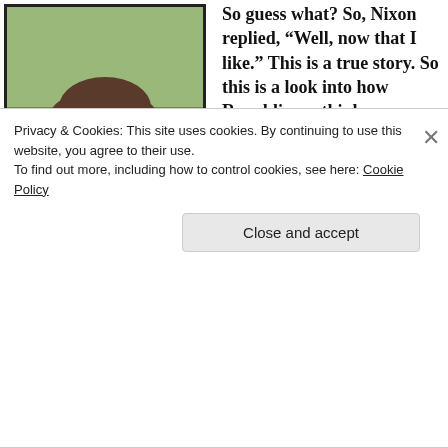[Figure (photo): Woman with short brown hair, glasses, wearing a white jacket and red necklace, smiling outdoors]
So guess what? So, Nixon replied, “Well, now that I like.” This is a true story. So this is a look into how Republicans think.

Well not long afterwards, Nixon gives a speech to
present his sweeping
[Figure (screenshot): Video thumbnail with dark background and a woman's hair visible. OPINION label bar in blue. Headline: GOP Needs Its Brains Back]
Privacy & Cookies: This site uses cookies. By continuing to use this website, you agree to their use.
To find out more, including how to control cookies, see here: Cookie Policy
Close and accept